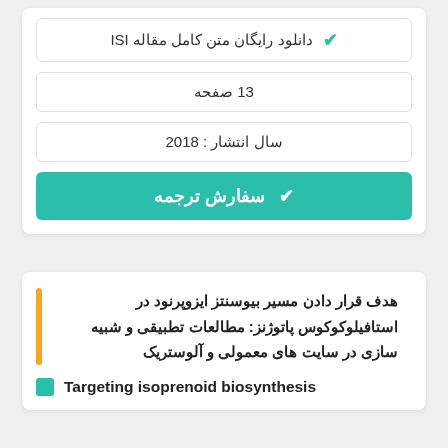✔ دانلود رایگان متن کامل مقاله ISI
13 صفحه
سال انتشار : 2018
✔ سفارش ترجمه
هدف قرار دادن مسیر بیوسنتز ایزوپرنود در استافیلوکوکوس پاتوژنز: مطالعات تطبیقی و شبیه سازی در سایت های معمولی و آلوستریک
Targeting isoprenoid biosynthesis